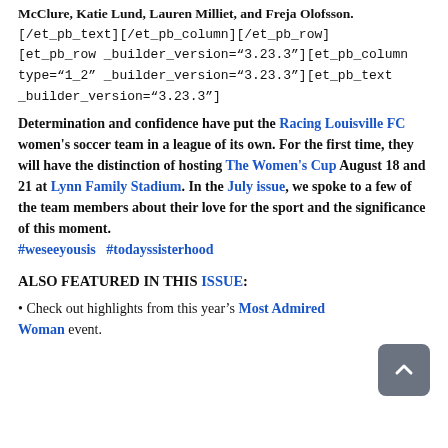McClure, Katie Lund, Lauren Milliet, and Freja Olofsson.[/et_pb_text][/et_pb_column][/et_pb_row][et_pb_row _builder_version="3.23.3"][et_pb_column type="1_2" _builder_version="3.23.3"][et_pb_text _builder_version="3.23.3"]
Determination and confidence have put the Racing Louisville FC women's soccer team in a league of its own. For the first time, they will have the distinction of hosting The Women's Cup August 18 and 21 at Lynn Family Stadium. In the July issue, we spoke to a few of the team members about their love for the sport and the significance of this moment. #weseeyousis  #todayssisterhood
ALSO FEATURED IN THIS ISSUE:
• Check out highlights from this year's Most Admired Woman event.